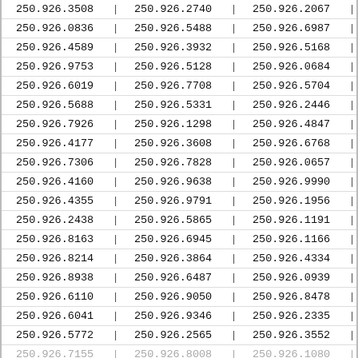| 250.926.3508 | 250.926.2740 | 250.926.2067 |
| 250.926.0836 | 250.926.5488 | 250.926.6987 |
| 250.926.4589 | 250.926.3932 | 250.926.5168 |
| 250.926.9753 | 250.926.5128 | 250.926.0684 |
| 250.926.6019 | 250.926.7708 | 250.926.5704 |
| 250.926.5688 | 250.926.5331 | 250.926.2446 |
| 250.926.7926 | 250.926.1298 | 250.926.4847 |
| 250.926.4177 | 250.926.3608 | 250.926.6768 |
| 250.926.7306 | 250.926.7828 | 250.926.0657 |
| 250.926.4160 | 250.926.9638 | 250.926.9990 |
| 250.926.4355 | 250.926.9791 | 250.926.1956 |
| 250.926.2438 | 250.926.5865 | 250.926.1191 |
| 250.926.8163 | 250.926.6945 | 250.926.1166 |
| 250.926.8214 | 250.926.3864 | 250.926.4334 |
| 250.926.8938 | 250.926.6487 | 250.926.0939 |
| 250.926.6110 | 250.926.9050 | 250.926.8478 |
| 250.926.6041 | 250.926.9346 | 250.926.2335 |
| 250.926.5772 | 250.926.2565 | 250.926.3552 |
| 250.926.7155 | 250.926.8008 | 250.926.1080 |